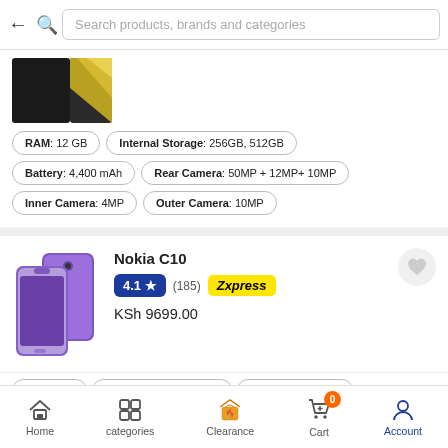Search products, brands and categories
[Figure (screenshot): Partial product image showing a dark phone and golden/yellow abstract graphic]
RAM: 12 GB
Internal Storage: 256GB, 512GB
Battery: 4,400 mAh
Rear Camera: 50MP + 12MP+ 10MP
Inner Camera: 4MP
Outer Camera: 10MP
Nokia C10
4.1 ★ (185) Zxpress
KSh 9699.00
[Figure (photo): Nokia C10 smartphone image showing a purple/violet phone from front and back]
RAM: 1GB
Internal Storage: 32GB
Battery: 3000 mAh
Main camera: 5MP
Front camera: 5 MP
Home  categories  Clearance  Cart 0  Account